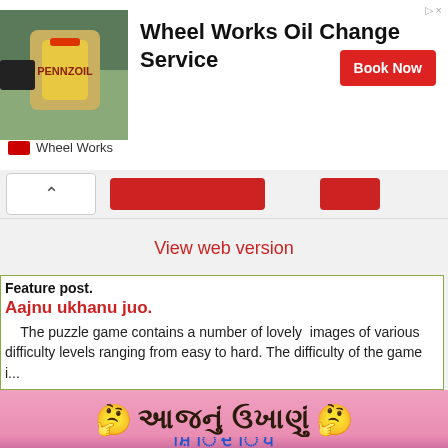[Figure (photo): Advertisement banner for Wheel Works Oil Change Service with product image, bold title text, and a red Book Now button. Wheel Works brand shown at bottom left.]
[Figure (screenshot): Partial navigation bar with up-arrow button and red UI buttons]
View web version
Feature post.
Aajnu ukhanu juo.
The puzzle game contains a number of lovely  images of various difficulty levels ranging from easy to hard. The difficulty of the game i...
[Figure (illustration): Pink background image with Gujarati script text 'આજનું ઉખાણું' (Today's riddle) with thinking face emojis on either side in dark brown bold font, and partial blue Gujarati text at the bottom.]